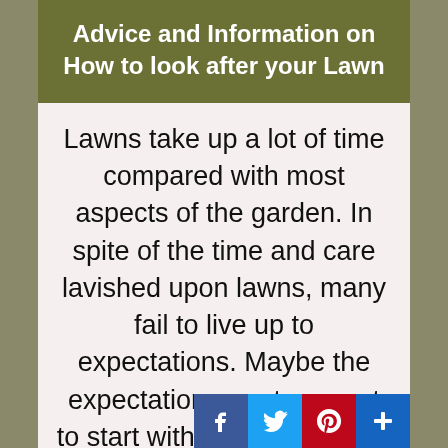Advice and Information on How to look after your Lawn
Lawns take up a lot of time compared with most aspects of the garden. In spite of the time and care lavished upon lawns, many fail to live up to expectations. Maybe the expectations are too great to start with. Problem being, that next door and surrounding areas seem to have better la...
[Figure (other): Social media share icons: Facebook, Twitter, Pinterest, and a plus/share button]